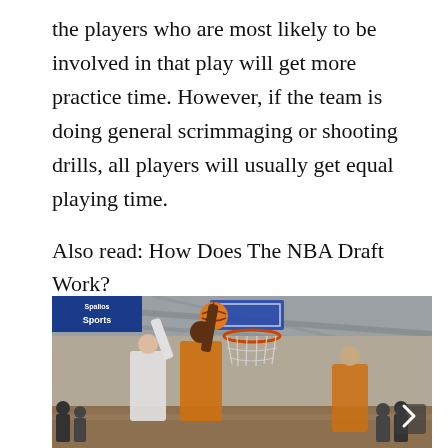the players who are most likely to be involved in that play will get more practice time. However, if the team is doing general scrimmaging or shooting drills, all players will usually get equal playing time.
Also read: How Does The NBA Draft Work?
[Figure (photo): Basketball game photo showing players near the hoop in an indoor gymnasium. A player in white and a player in dark/orange uniforms are jumping near the basket. A banner reading 'Sports' is visible in the upper left. There is a chevron arrow button on the right side.]